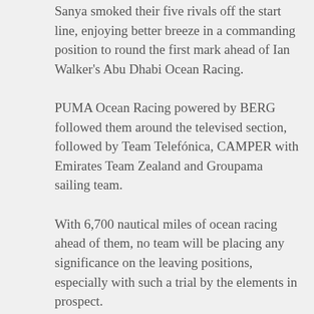Sanya smoked their five rivals off the start line, enjoying better breeze in a commanding position to round the first mark ahead of Ian Walker's Abu Dhabi Ocean Racing.
PUMA Ocean Racing powered by BERG followed them around the televised section, followed by Team Telefónica, CAMPER with Emirates Team Zealand and Groupama sailing team.
With 6,700 nautical miles of ocean racing ahead of them, no team will be placing any significance on the leaving positions, especially with such a trial by the elements in prospect.
According to race meteorologist Gonzalo Infante a low pressure system to the north east of Auckland is set to intensify as it moves towards the colder waters of the Southern Ocean.
“It’s a heat machine right now,” Infante said. “As it interacts with the cooler air off New Zealand it could generate some big winds — 30 knots up to maybe